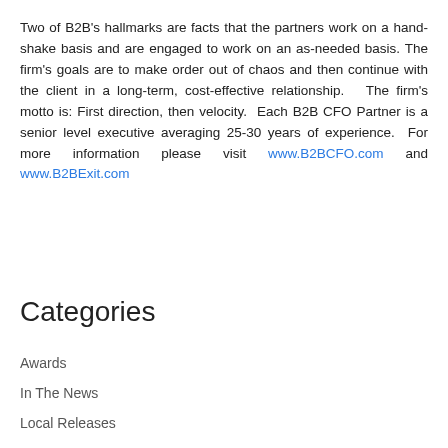Two of B2B's hallmarks are facts that the partners work on a hand-shake basis and are engaged to work on an as-needed basis. The firm's goals are to make order out of chaos and then continue with the client in a long-term, cost-effective relationship.  The firm's motto is: First direction, then velocity.  Each B2B CFO Partner is a senior level executive averaging 25-30 years of experience.  For more information please visit www.B2BCFO.com and www.B2BExit.com
Categories
Awards
In The News
Local Releases